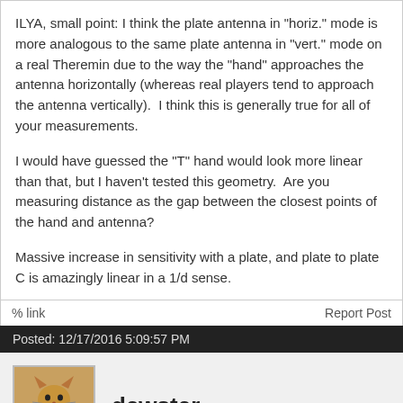ILYA, small point: I think the plate antenna in "horiz." mode is more analogous to the same plate antenna in "vert." mode on a real Theremin due to the way the "hand" approaches the antenna horizontally (whereas real players tend to approach the antenna vertically).  I think this is generally true for all of your measurements.
I would have guessed the "T" hand would look more linear than that, but I haven't tested this geometry.  Are you measuring distance as the gap between the closest points of the hand and antenna?
Massive increase in sensitivity with a plate, and plate to plate C is amazingly linear in a 1/d sense.
% link
Report Post
Posted: 12/17/2016 5:09:57 PM
dewster
Mutual C + Intrinsic C = Total C